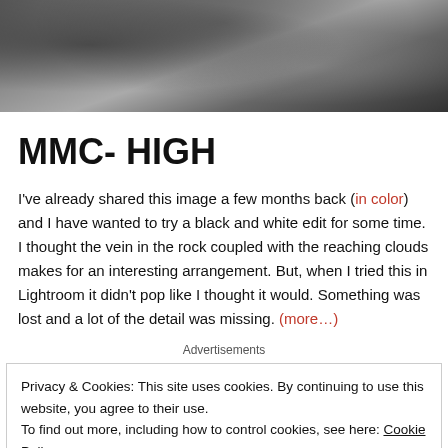[Figure (photo): Black and white photo of a rocky landscape with a textured stone surface and clouds in the background]
MMC- HIGH
I've already shared this image a few months back (in color) and I have wanted to try a black and white edit for some time. I thought the vein in the rock coupled with the reaching clouds makes for an interesting arrangement. But, when I tried this in Lightroom it didn't pop like I thought it would. Something was lost and a lot of the detail was missing. (more…)
Advertisements
Privacy & Cookies: This site uses cookies. By continuing to use this website, you agree to their use.
To find out more, including how to control cookies, see here: Cookie Policy
Close and accept
The best real time